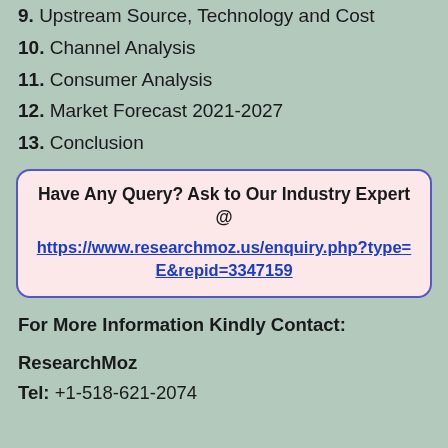9. Upstream Source, Technology and Cost
10. Channel Analysis
11. Consumer Analysis
12. Market Forecast 2021-2027
13. Conclusion
Have Any Query? Ask to Our Industry Expert @ https://www.researchmoz.us/enquiry.php?type=E&repid=3347159
For More Information Kindly Contact:
ResearchMoz
Tel: +1-518-621-2074